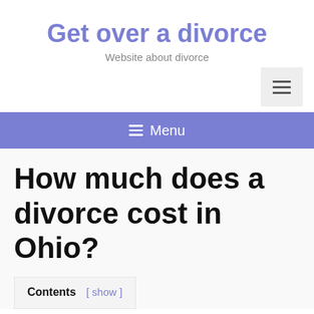Get over a divorce
Website about divorce
How much does a divorce cost in Ohio?
Contents [ show ]